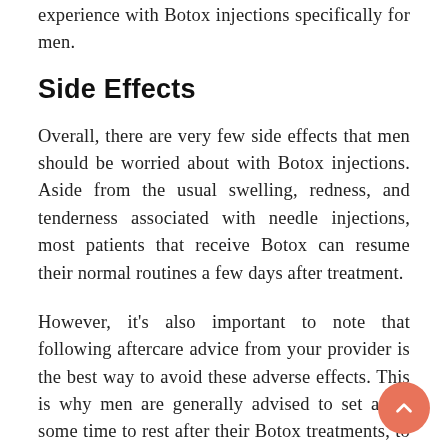experience with Botox injections specifically for men.
Side Effects
Overall, there are very few side effects that men should be worried about with Botox injections. Aside from the usual swelling, redness, and tenderness associated with needle injections, most patients that receive Botox can resume their normal routines a few days after treatment.
However, it's also important to note that following aftercare advice from your provider is the best way to avoid these adverse effects. This is why men are generally advised to set aside some time to rest after their Botox treatments, to avoid the product from migrating to other areas of the skin.
Otherwise, a skilled injector with enough experience with men's anatomy should give male patients the